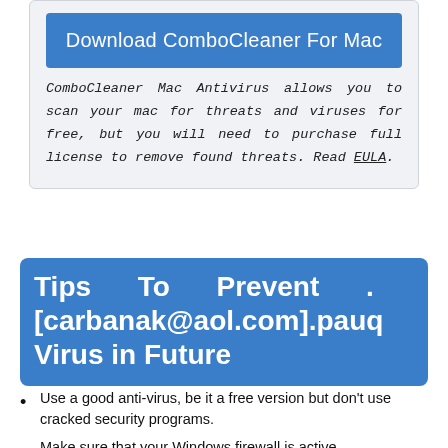[Figure (other): Download ComboCleaner For Mac button (blue rounded rectangle)]
ComboCleaner Mac Antivirus allows you to scan your mac for threats and viruses for free, but you will need to purchase full license to remove found threats. Read EULA.
Tips To Prevent .[carbanak@aol.com].pauq Virus in Future
Use a good anti-virus, be it a free version but don't use cracked security programs.
Make sure that your Windows firewall is active,